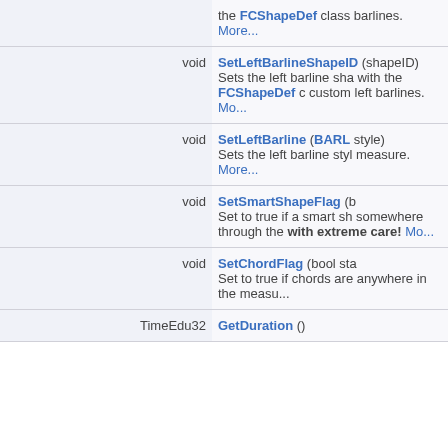| Return type | Function signature / Description |
| --- | --- |
|  | the FCShapeDef class barlines. More... |
| void | SetLeftBarlineShapeID ( shapeID)
Sets the left barline sha with the FCShapeDef c custom left barlines. Mo... |
| void | SetLeftBarline (BARL style)
Sets the left barline styl measure. More... |
| void | SetSmartShapeFlag (b
Set to true if a smart sh somewhere through the with extreme care! Mo... |
| void | SetChordFlag (bool sta
Set to true if chords are anywhere in the measu... |
| TimeEdu32 | GetDuration () |